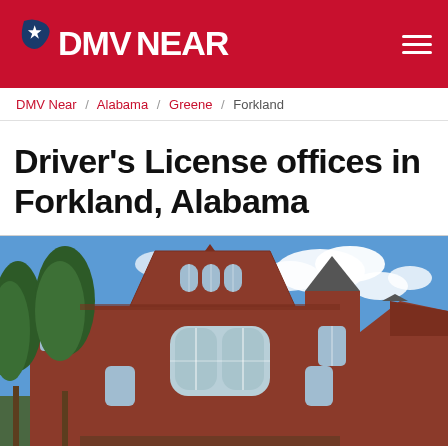DMV NEAR (logo) with navigation hamburger menu
DMV Near / Alabama / Greene / Forkland
Driver's License offices in Forkland, Alabama
[Figure (photo): Photograph of a red-brick historic building with Gothic arched windows, a corner turret, and large trees in the foreground under a partly cloudy blue sky, representing a government/civic building in Alabama.]